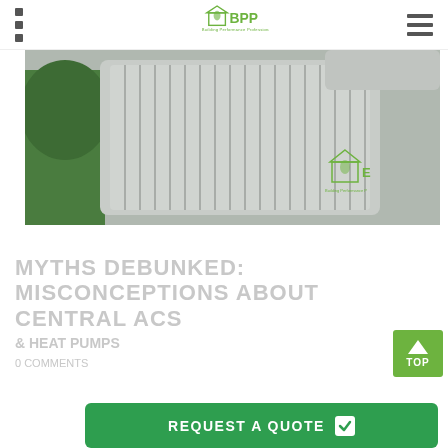BPP Building Performance Professionals
[Figure (photo): Outdoor HVAC central air conditioning unit with metal fins/grilles and green foliage in background, with BPP logo watermark overlay]
MYTHS DEBUNKED: MISCONCEPTIONS ABOUT CENTRAL ACS
& HEAT PUMPS
0 COMMENTS
[Figure (other): Green TOP button with upward arrow]
REQUEST A QUOTE